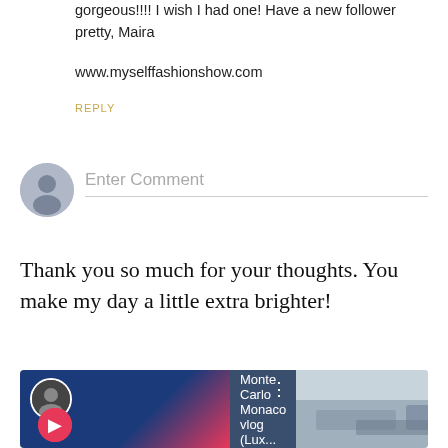gorgeous!!!! I wish I had one! Have a new follower pretty, Maira
www.myselffashionshow.com
REPLY
[Figure (illustration): Gray circular avatar icon for comment entry]
Enter Comment
Thank you so much for your thoughts. You make my day a little extra brighter!
[Figure (screenshot): YouTube video thumbnail showing Monte Carlo Monaco vlog (Lux...) with profile avatar on blue background and harbor/boats image on right]